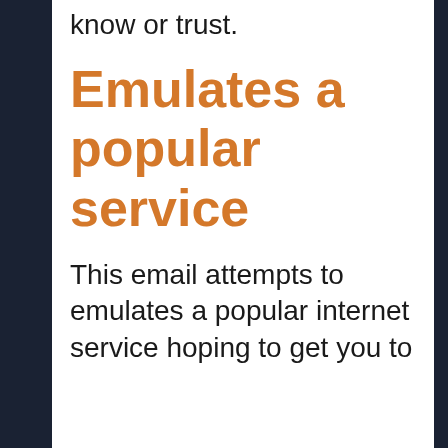know or trust.
Emulates a popular service
This email attempts to emulates a popular internet service hoping to get you to